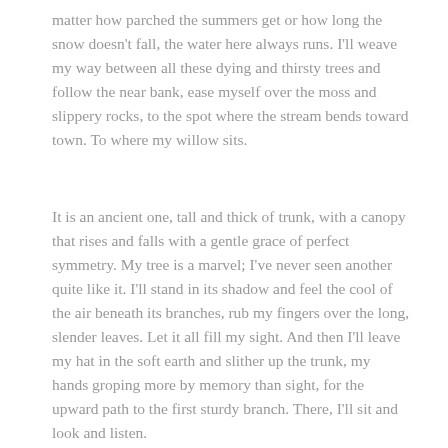matter how parched the summers get or how long the snow doesn't fall, the water here always runs. I'll weave my way between all these dying and thirsty trees and follow the near bank, ease myself over the moss and slippery rocks, to the spot where the stream bends toward town. To where my willow sits.
It is an ancient one, tall and thick of trunk, with a canopy that rises and falls with a gentle grace of perfect symmetry. My tree is a marvel; I've never seen another quite like it. I'll stand in its shadow and feel the cool of the air beneath its branches, rub my fingers over the long, slender leaves. Let it all fill my sight. And then I'll leave my hat in the soft earth and slither up the trunk, my hands groping more by memory than sight, for the upward path to the first sturdy branch. There, I'll sit and look and listen.